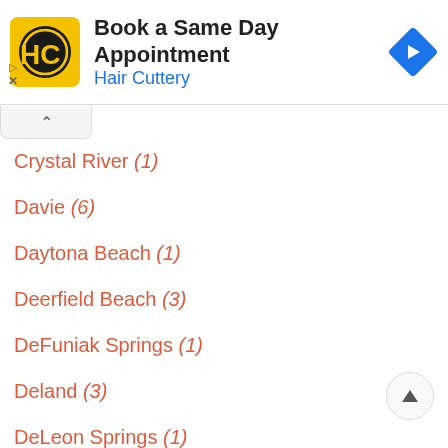[Figure (screenshot): Hair Cuttery advertisement banner with logo, 'Book a Same Day Appointment' text, and blue direction arrow icon]
Crystal River (1)
Davie (6)
Daytona Beach (1)
Deerfield Beach (3)
DeFuniak Springs (1)
Deland (3)
DeLeon Springs (1)
Delray Beach (5)
Deltona (1)